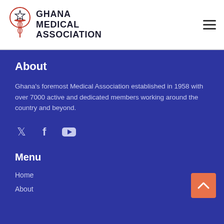GHANA MEDICAL ASSOCIATION
About
Ghana's foremost Medical Association established in 1958 with over 7000 active and dedicated members working around the country and beyond.
[Figure (illustration): Social media icons: Twitter, Facebook, YouTube]
Menu
Home
About